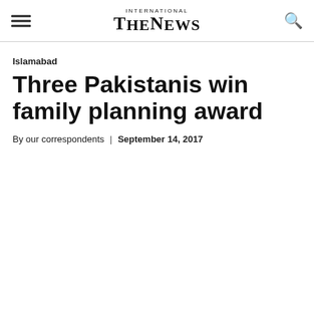INTERNATIONAL THE NEWS
Islamabad
Three Pakistanis win family planning award
By our correspondents | September 14, 2017